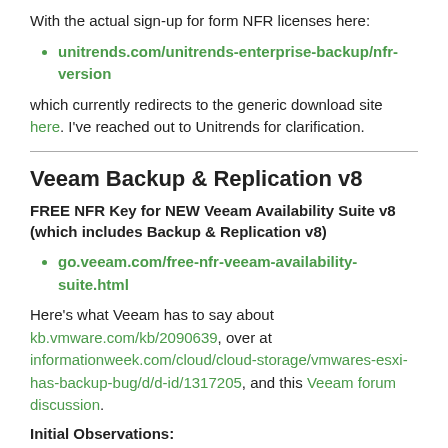With the actual sign-up for form NFR licenses here:
unitrends.com/unitrends-enterprise-backup/nfr-version
which currently redirects to the generic download site here. I've reached out to Unitrends for clarification.
Veeam Backup & Replication v8
FREE NFR Key for NEW Veeam Availability Suite v8 (which includes Backup & Replication v8)
go.veeam.com/free-nfr-veeam-availability-suite.html
Here’s what Veeam has to say about kb.vmware.com/kb/2090639, over at informationweek.com/cloud/cloud-storage/vmwares-esxi-has-backup-bug/d/d-id/1317205, and this Veeam forum discussion.
Initial Observations:
I’ve done a v7 and v8 install in my home environment, which involved a copy of Windows Server 2012 R2, and some patches,